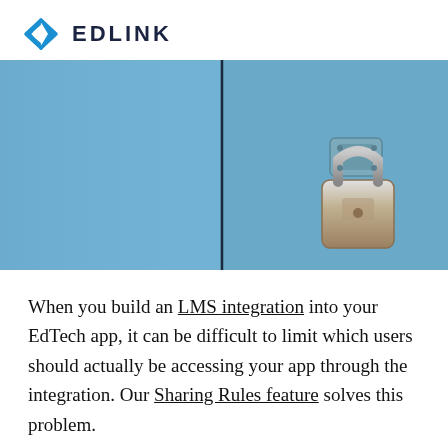EDLINK
[Figure (photo): Close-up photo of blue metal doors with a padlock, suggesting security and access control]
When you build an LMS integration into your EdTech app, it can be difficult to limit which users should actually be accessing your app through the integration. Our Sharing Rules feature solves this problem.